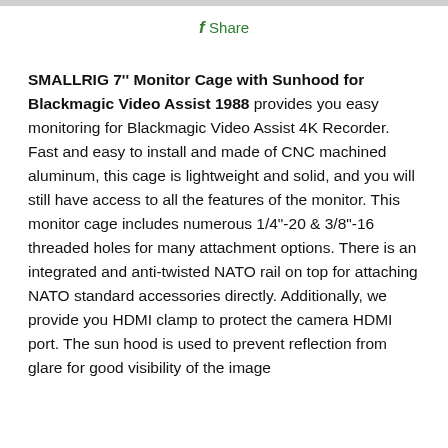f Share
SMALLRIG 7'' Monitor Cage with Sunhood for Blackmagic Video Assist 1988 provides you easy monitoring for Blackmagic Video Assist 4K Recorder. Fast and easy to install and made of CNC machined aluminum, this cage is lightweight and solid, and you will still have access to all the features of the monitor. This monitor cage includes numerous 1/4"-20 & 3/8"-16 threaded holes for many attachment options. There is an integrated and anti-twisted NATO rail on top for attaching NATO standard accessories directly. Additionally, we provide you HDMI clamp to protect the camera HDMI port. The sun hood is used to prevent reflection from glare for good visibility of the image